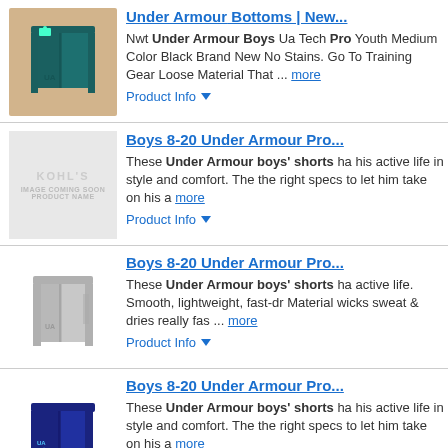Under Armour Bottoms | New...
Nwt Under Armour Boys Ua Tech Pro Youth Medium Color Black Brand New No Stains. Go To Training Gear Loose Material That ... more
Product Info
Boys 8-20 Under Armour Pro...
These Under Armour boys' shorts ha his active life in style and comfort. The the right specs to let him take on his a more
Product Info
Boys 8-20 Under Armour Pro...
These Under Armour boys' shorts ha active life. Smooth, lightweight, fast-dr Material wicks sweat & dries really fas ... more
Product Info
Boys 8-20 Under Armour Pro...
These Under Armour boys' shorts ha his active life in style and comfort. The the right specs to let him take on his a more
Product Info